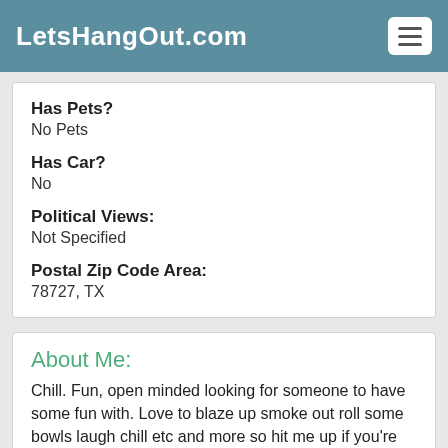LetsHangOut.com
Has Pets?
No Pets
Has Car?
No
Political Views:
Not Specified
Postal Zip Code Area:
78727, TX
About Me:
Chill. Fun, open minded looking for someone to have some fun with. Love to blaze up smoke out roll some bowls laugh chill etc and more so hit me up if you're interested and we can go from there. 5 one 2 nine 3 seven 7 six 5 zero